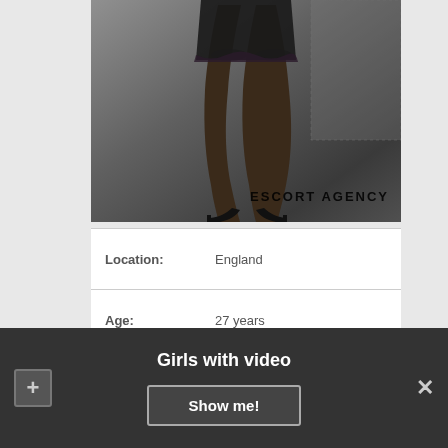[Figure (photo): A photograph showing legs of a woman in black stockings and heels, with a leather skirt, against a concrete wall background. Watermark reads 'ESCORT AGENCY'.]
| Location: | England |
| Age: | 27 years |
| Height: | 175 |
| Body weight: | 55 |
Girls with video
Show me!